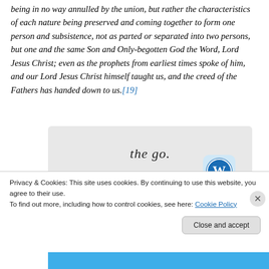being in no way annulled by the union, but rather the characteristics of each nature being preserved and coming together to form one person and subsistence, not as parted or separated into two persons, but one and the same Son and Only-begotten God the Word, Lord Jesus Christ; even as the prophets from earliest times spoke of him, and our Lord Jesus Christ himself taught us, and the creed of the Fathers has handed down to us.[19]
[Figure (screenshot): Advertisement banner showing 'the go.' text with 'GET THE APP' link and WordPress logo]
Privacy & Cookies: This site uses cookies. By continuing to use this website, you agree to their use. To find out more, including how to control cookies, see here: Cookie Policy
Close and accept